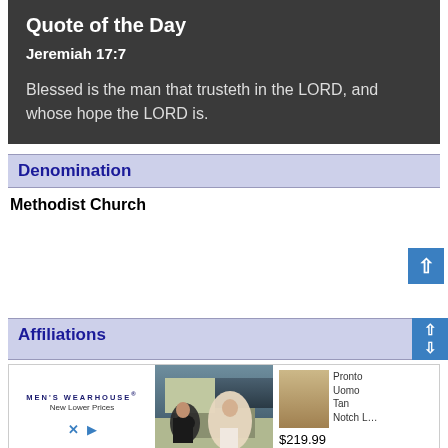Quote of the Day
Jeremiah 17:7
Blessed is the man that trusteth in the LORD, and whose hope the LORD is.
Denomination
Methodist Church
Affiliations
[Figure (other): Men's Wearhouse advertisement showing a couple in formal wear and a tan Pronto Uomo Notch Lapel suit thumbnail priced at $219.99]